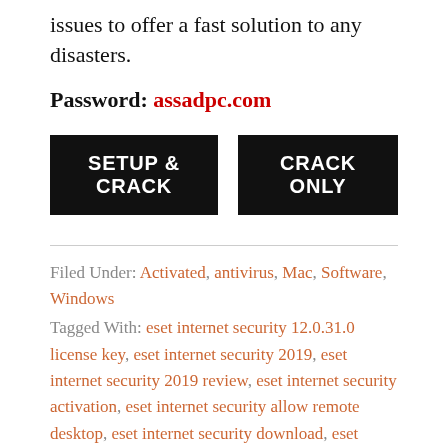issues to offer a fast solution to any disasters.
Password: assadpc.com
[Figure (other): Two black rectangular buttons labeled 'SETUP & CRACK' and 'CRACK ONLY']
Filed Under: Activated, antivirus, Mac, Software, Windows
Tagged With: eset internet security 12.0.31.0 license key, eset internet security 2019, eset internet security 2019 review, eset internet security activation, eset internet security allow remote desktop, eset internet security download, eset internet security license, eset internet security